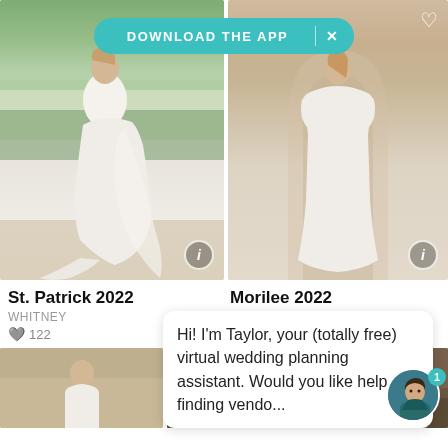[Figure (screenshot): Download The App banner in teal/turquoise with X close button]
[Figure (photo): Woman in white mermaid wedding dress (St. Patrick Whitney 2022) in garden setting]
[Figure (photo): Woman in white A-line long-sleeve wedding dress (Morilee 2022 style 12128) in architectural interior]
St. Patrick 2022
WHITNEY
122
Morilee 2022
12128
[Figure (photo): Partial photo of woman in white dress, bottom row left]
[Figure (photo): Partial photo of street scene with ST PANCE signage, bottom row right]
Hi! I'm Taylor, your (totally free) virtual wedding planning assistant. Would you like help finding vendo...
[Figure (illustration): Avatar of Taylor virtual assistant with turquoise notification badge showing 1]